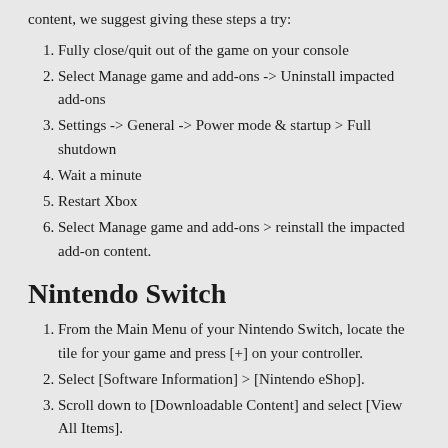content, we suggest giving these steps a try:
Fully close/quit out of the game on your console
Select Manage game and add-ons -> Uninstall impacted add-ons
Settings -> General -> Power mode & startup > Full shutdown
Wait a minute
Restart Xbox
Select Manage game and add-ons > reinstall the impacted add-on content.
Nintendo Switch
From the Main Menu of your Nintendo Switch, locate the tile for your game and press [+] on your controller.
Select [Software Information] > [Nintendo eShop].
Scroll down to [Downloadable Content] and select [View All Items].